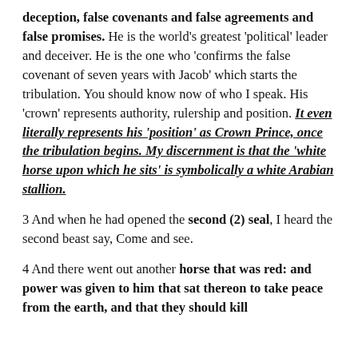deception, false covenants and false agreements and false promises. He is the world's greatest 'political' leader and deceiver. He is the one who 'confirms the false covenant of seven years with Jacob' which starts the tribulation. You should know now of who I speak. His 'crown' represents authority, rulership and position. It even literally represents his 'position' as Crown Prince, once the tribulation begins. My discernment is that the 'white horse upon which he sits' is symbolically a white Arabian stallion.
3 And when he had opened the second (2) seal, I heard the second beast say, Come and see.
4 And there went out another horse that was red: and power was given to him that sat thereon to take peace from the earth, and that they should kill one another: and there was given to him a